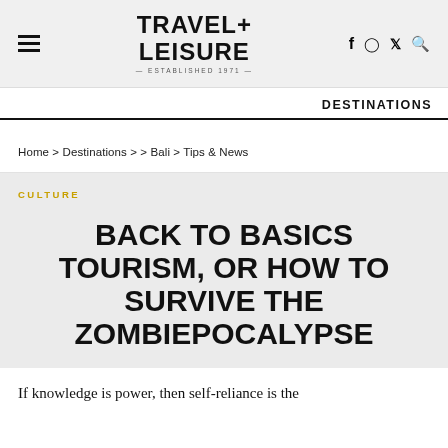TRAVEL+ LEISURE
DESTINATIONS
Home > Destinations > > Bali > Tips & News
CULTURE
BACK TO BASICS TOURISM, OR HOW TO SURVIVE THE ZOMBIEPOCALYPSE
If knowledge is power, then self-reliance is the